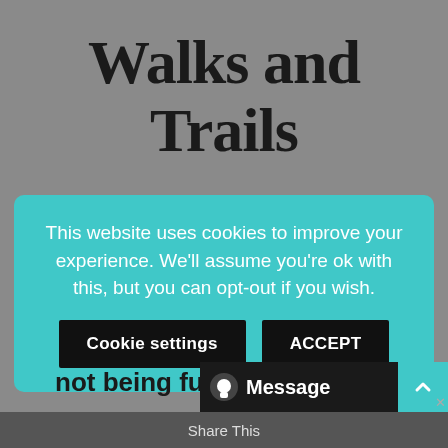Walks and Trails
This website uses cookies to improve your experience. We'll assume you're ok with this, but you can opt-out if you wish.
not being fully covered at high tide. The Cornish name for Newquay even means “wind blown dune”. The town enough to be explored on foot
Share This
Message